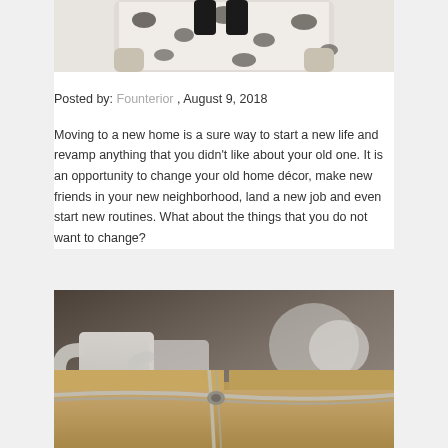[Figure (photo): Partial view of a floral-patterned armchair with dark fabric, cropped at top of page]
Posted by: Founterior , August 9, 2018
Moving to a new home is a sure way to start a new life and revamp anything that you didn't like about your old one. It is an opportunity to change your old home décor, make new friends in your new neighborhood, land a new job and even start new routines. What about the things that you do not want to change?
[Figure (photo): Close-up photo of cardboard moving boxes tied with twine, with white mugs visible in background]